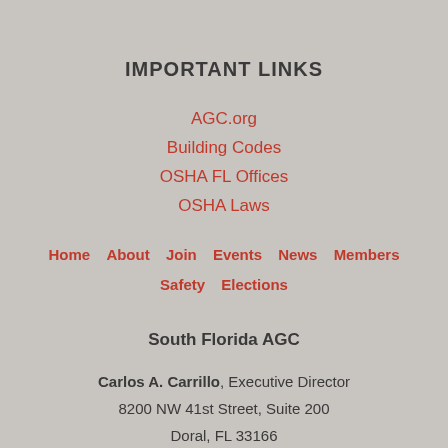IMPORTANT LINKS
AGC.org
Building Codes
OSHA FL Offices
OSHA Laws
Home   About   Join   Events   News   Members   Safety   Elections
South Florida AGC
Carlos A. Carrillo, Executive Director
8200 NW 41st Street, Suite 200
Doral, FL 33166
305.721.3086 office | 954.381.5748 fax